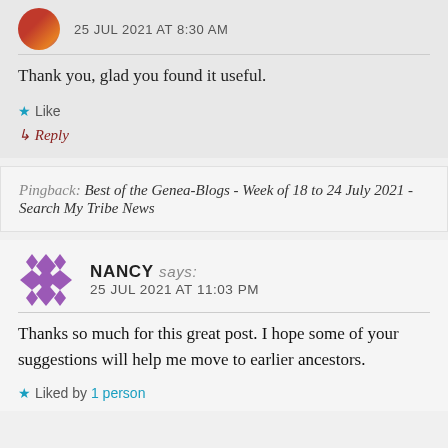25 JUL 2021 AT 8:30 AM
Thank you, glad you found it useful.
★ Like
↪ Reply
Pingback: Best of the Genea-Blogs - Week of 18 to 24 July 2021 - Search My Tribe News
NANCY says: 25 JUL 2021 AT 11:03 PM
Thanks so much for this great post. I hope some of your suggestions will help me move to earlier ancestors.
★ Liked by 1 person